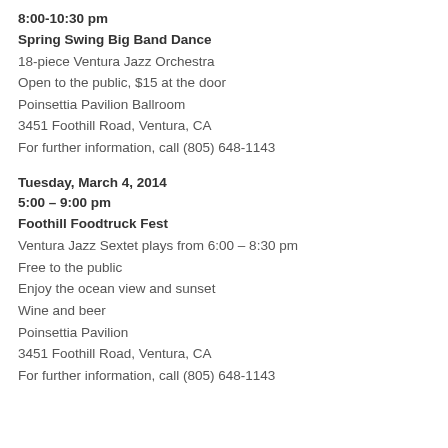8:00-10:30 pm
Spring Swing Big Band Dance
18-piece Ventura Jazz Orchestra
Open to the public, $15 at the door
Poinsettia Pavilion Ballroom
3451 Foothill Road, Ventura, CA
For further information, call (805) 648-1143
Tuesday, March 4, 2014
5:00 – 9:00 pm
Foothill Foodtruck Fest
Ventura Jazz Sextet plays from 6:00 – 8:30 pm
Free to the public
Enjoy the ocean view and sunset
Wine and beer
Poinsettia Pavilion
3451 Foothill Road, Ventura, CA
For further information, call (805) 648-1143